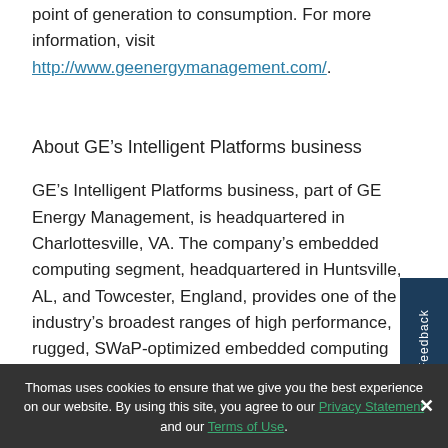point of generation to consumption. For more information, visit http://www.geenergymanagement.com/.
About GE's Intelligent Platforms business
GE's Intelligent Platforms business, part of GE Energy Management, is headquartered in Charlottesville, VA. The company's embedded computing segment, headquartered in Huntsville, AL, and Towcester, England, provides one of the industry's broadest ranges of high performance, rugged, SWaP-optimized embedded computing platforms for a broad range of industries – both commercial and military/aerospace – where harsh environments need GE's expertise in robust,
Thomas uses cookies to ensure that we give you the best experience on our website. By using this site, you agree to our Privacy Statement and our Terms of Use.